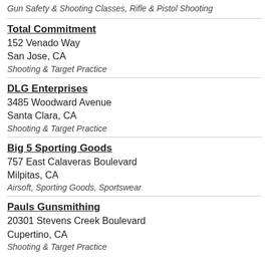Gun Safety & Shooting Classes, Rifle & Pistol Shooting
Total Commitment
152 Venado Way
San Jose, CA
Shooting & Target Practice
DLG Enterprises
3485 Woodward Avenue
Santa Clara, CA
Shooting & Target Practice
Big 5 Sporting Goods
757 East Calaveras Boulevard
Milpitas, CA
Airsoft, Sporting Goods, Sportswear
Pauls Gunsmithing
20301 Stevens Creek Boulevard
Cupertino, CA
Shooting & Target Practice